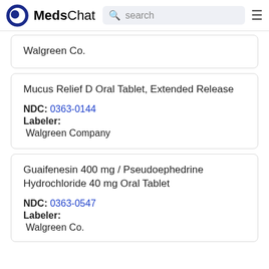MedsChat  search
Walgreen Co.
Mucus Relief D Oral Tablet, Extended Release
NDC: 0363-0144
Labeler:
Walgreen Company
Guaifenesin 400 mg / Pseudoephedrine Hydrochloride 40 mg Oral Tablet
NDC: 0363-0547
Labeler:
Walgreen Co.